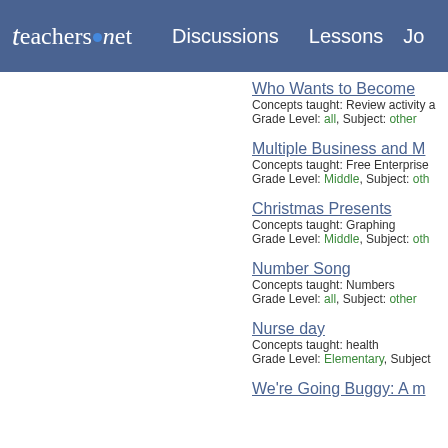teachers.net | Discussions | Lessons | Jo
Who Wants to Become
Concepts taught: Review activity
Grade Level: all, Subject: other
Multiple Business and M
Concepts taught: Free Enterprise
Grade Level: Middle, Subject: oth
Christmas Presents
Concepts taught: Graphing
Grade Level: Middle, Subject: oth
Number Song
Concepts taught: Numbers
Grade Level: all, Subject: other
Nurse day
Concepts taught: health
Grade Level: Elementary, Subject
We're Going Buggy: A m